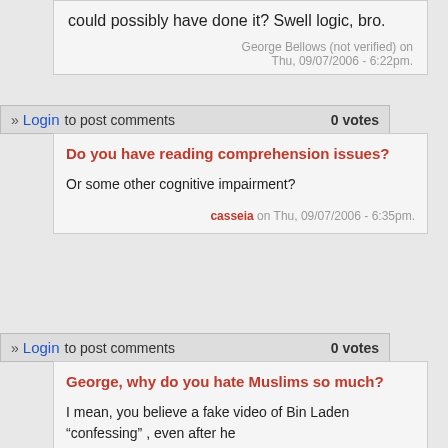...admitted to a crime could possibly have done it? Swell logic, bro.
George Bellows (not verified) on Thu, 09/07/2006 - 6:22pm.
» Login to post comments   0 votes
Do you have reading comprehension issues?
Or some other cognitive impairment?
casseia on Thu, 09/07/2006 - 6:35pm.
» Login to post comments   0 votes
George, why do you hate Muslims so much?
I mean, you believe a fake video of Bin Laden "confessing" , even after he